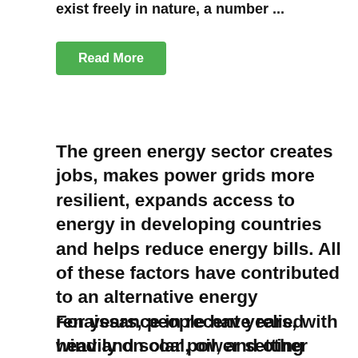exist freely in nature, a number ...
Read More
The green energy sector creates jobs, makes power grids more resilient, expands access to energy in developing countries and helps reduce energy bills. All of these factors have contributed to an alternative energy renaissance in recent years, with wind and solar power setting new records for electricity generation.
For years, people have relied heavily on coal, oil, and other fossil fuels to